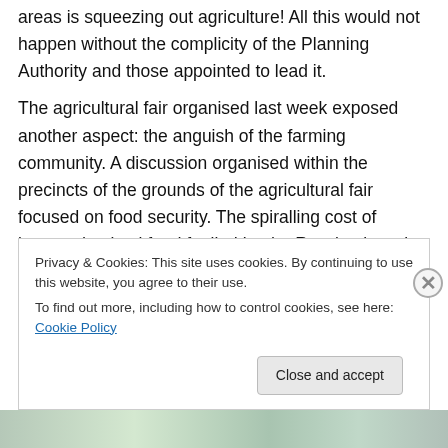areas is squeezing out agriculture! All this would not happen without the complicity of the Planning Authority and those appointed to lead it.
The agricultural fair organised last week exposed another aspect: the anguish of the farming community. A discussion organised within the precincts of the grounds of the agricultural fair focused on food security. The spiralling cost of imported animal feed fuelled by the Russian invasion of Ukraine as well as international business pressures are adding to the problems of those involved in
Privacy & Cookies: This site uses cookies. By continuing to use this website, you agree to their use.
To find out more, including how to control cookies, see here: Cookie Policy
Close and accept
[Figure (photo): Partial view of images at the bottom of the page, partially obscured by cookie banner]